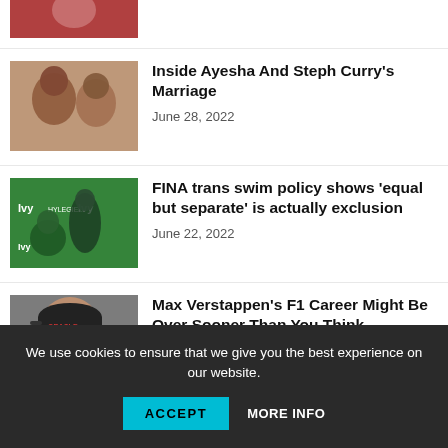[Figure (photo): Partial thumbnail of a person at top of page, cropped]
[Figure (photo): Photo of Ayesha and Steph Curry smiling together]
Inside Ayesha And Steph Curry's Marriage
June 28, 2022
[Figure (photo): Photo of a person at an Ivy event with green backdrop]
FINA trans swim policy shows 'equal but separate' is actually exclusion
June 22, 2022
[Figure (photo): Photo of Max Verstappen wearing a racing cap]
Max Verstappen's F1 Career Might Be Over Sooner Than You Think
June 7, 2022
We use cookies to ensure that we give you the best experience on our website.